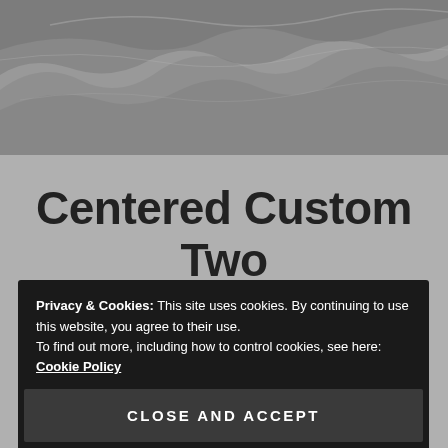[Figure (photo): Grayscale aerial or landscape photo showing a rocky or wavy terrain, used as a hero background image at the top of the page.]
Centered Custom Two
We are excited to launch our new company and
Privacy & Cookies: This site uses cookies. By continuing to use this website, you agree to their use.
To find out more, including how to control cookies, see here: Cookie Policy
Close and accept